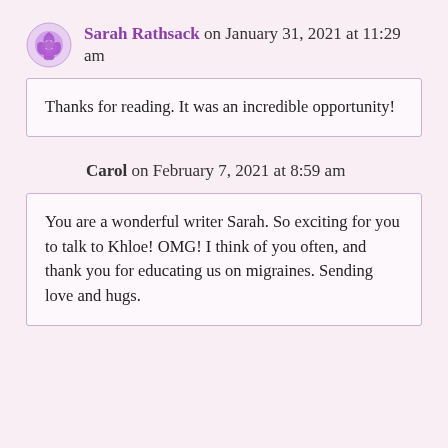[Figure (illustration): Purple floral/swirl avatar logo for Sarah Rathsack]
Sarah Rathsack on January 31, 2021 at 11:29 am
Thanks for reading. It was an incredible opportunity!
Carol on February 7, 2021 at 8:59 am
You are a wonderful writer Sarah. So exciting for you to talk to Khloe! OMG! I think of you often, and thank you for educating us on migraines. Sending love and hugs.